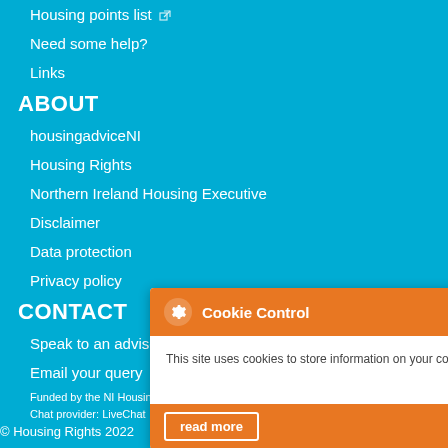Housing points list
Need some help?
Links
ABOUT
housingadviceNI
Housing Rights
Northern Ireland Housing Executive
Disclaimer
Data protection
Privacy policy
CONTACT
Speak to an adviser
Email your query
Funded by the NI Housing Executive
Chat provider: LiveChat
© Housing Rights 2022
[Figure (screenshot): Cookie Control modal overlay with orange header containing gear icon and 'Cookie Control' title, body text 'This site uses cookies to store information on your computer.', 'About this tool' link, and orange 'read more' button.]